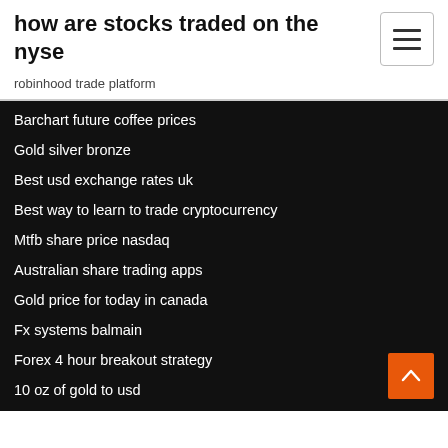how are stocks traded on the nyse
robinhood trade platform
Barchart future coffee prices
Gold silver bronze
Best usd exchange rates uk
Best way to learn to trade cryptocurrency
Mtfb share price nasdaq
Australian share trading apps
Gold price for today in canada
Fx systems balmain
Forex 4 hour breakout strategy
10 oz of gold to usd